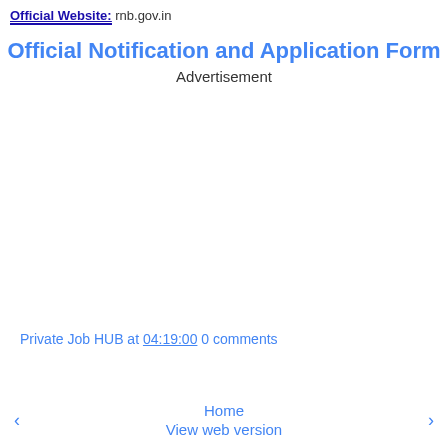Official Website: rnb.gov.in
Official Notification and Application Form
Advertisement
Private Job HUB at 04:19:00 0 comments
‹   Home   View web version   ›